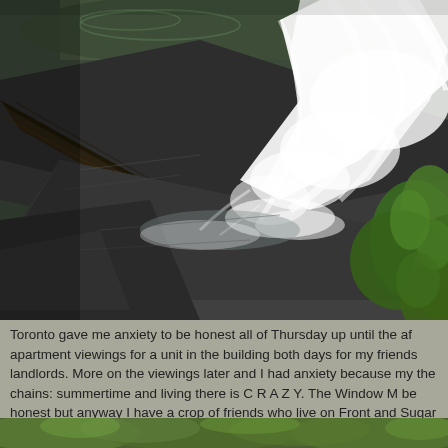[Figure (photo): Waterfall cascading over dark rocks with fallen logs and green foliage visible on the right side]
Toronto gave me anxiety to be honest all of Thursday up until the af apartment viewings for a unit in the building both days for my friends landlords. More on the viewings later and I had anxiety because my the chains: summertime and living there is C R A Z Y. The Window M be honest but anyway I have a crop of friends who live on Front and Sugar Beach when it's summer, so that we did. Tashina picked us u blasted on down. Bf noticed the crew already there and party was a
[Figure (photo): Partially visible photo at bottom of page showing green foliage/nature scene]